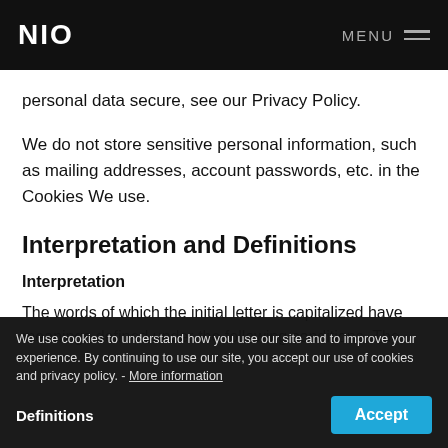NIO  MENU
personal data secure, see our Privacy Policy.
We do not store sensitive personal information, such as mailing addresses, account passwords, etc. in the Cookies We use.
Interpretation and Definitions
Interpretation
The words of which the initial letter is capitalized have meanings defined under the following conditions. The
We use cookies to understand how you use our site and to improve your experience. By continuing to use our site, you accept our use of cookies and privacy policy. - More information
Definitions